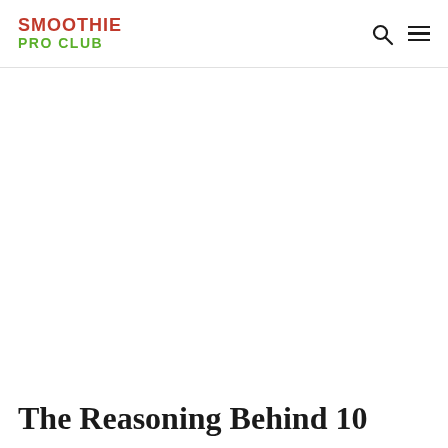SMOOTHIE PRO CLUB
The Reasoning Behind 10